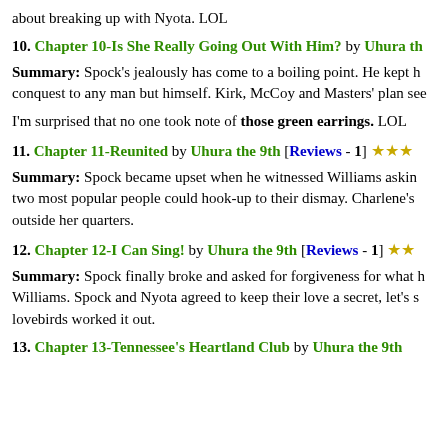about breaking up with Nyota. LOL
10. Chapter 10-Is She Really Going Out With Him? by Uhura th
Summary: Spock's jealously has come to a boiling point. He kept h conquest to any man but himself. Kirk, McCoy and Masters' plan see
I'm surprised that no one took note of those green earrings. LOL
11. Chapter 11-Reunited by Uhura the 9th [Reviews - 1] ★★★
Summary: Spock became upset when he witnessed Williams askin two most popular people could hook-up to their dismay. Charlene's outside her quarters.
12. Chapter 12-I Can Sing! by Uhura the 9th [Reviews - 1] ★★
Summary: Spock finally broke and asked for forgiveness for what h Williams. Spock and Nyota agreed to keep their love a secret, let's s lovebirds worked it out.
13. Chapter 13-Tennessee's Heartland Club by Uhura the 9th